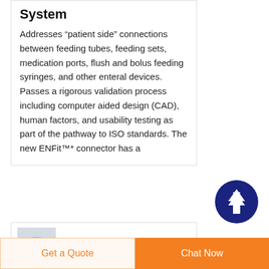System
Addresses “patient side” connections between feeding tubes, feeding sets, medication ports, flush and bolus feeding syringes, and other enteral devices. Passes a rigorous validation process including computer aided design (CAD), human factors, and usability testing as part of the pathway to ISO standards. The new ENFit™* connector has a
[Figure (illustration): Dark navy blue circular button with an upward arrow icon (scroll to top button)]
[Figure (photo): Small thumbnail image, appears to show a close-up of a medical device connector, blueish tones]
Ce Iso13485
Get a Quote
Chat Now